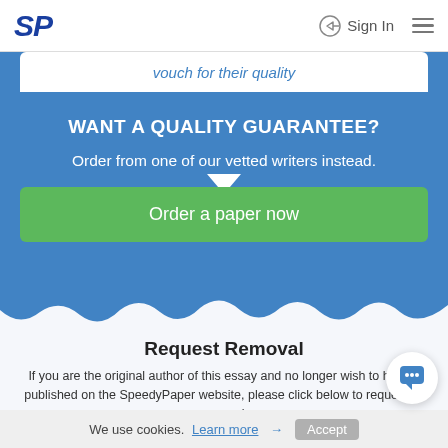SP  Sign In
vouch for their quality
WANT A QUALITY GUARANTEE?
Order from one of our vetted writers instead.
Order a paper now
Request Removal
If you are the original author of this essay and no longer wish to have it published on the SpeedyPaper website, please click below to request its removal:
We use cookies. Learn more → Accept